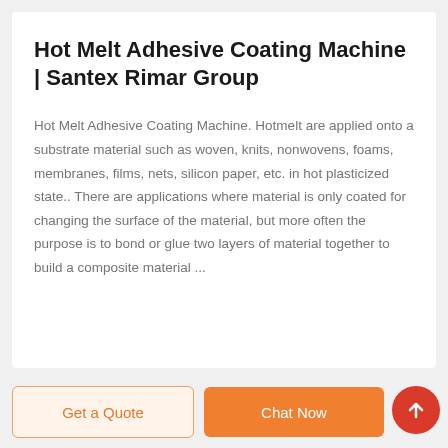Hot Melt Adhesive Coating Machine | Santex Rimar Group
Hot Melt Adhesive Coating Machine. Hotmelt are applied onto a substrate material such as woven, knits, nonwovens, foams, membranes, films, nets, silicon paper, etc. in hot plasticized state.. There are applications where material is only coated for changing the surface of the material, but more often the purpose is to bond or glue two layers of material together to build a composite material ...